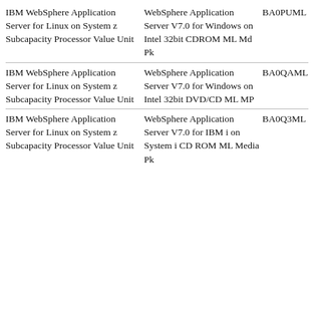| Product | Media | Part Number |
| --- | --- | --- |
| IBM WebSphere Application Server for Linux on System z Subcapacity Processor Value Unit | WebSphere Application Server V7.0 for Windows on Intel 32bit CDROM ML Md Pk | BA0PUML |
| IBM WebSphere Application Server for Linux on System z Subcapacity Processor Value Unit | WebSphere Application Server V7.0 for Windows on Intel 32bit DVD/CD ML MP | BA0QAML |
| IBM WebSphere Application Server for Linux on System z Subcapacity Processor Value Unit | WebSphere Application Server V7.0 for IBM i on System i CD ROM ML Media Pk | BA0Q3ML |
About cookies on this site
Our websites require some cookies to function properly (required). In addition, other cookies may be used with your consent to analyze site usage, improve the user experience and for advertising.
For more information, please review your Cookie preferences options and IBM's privacy statement.